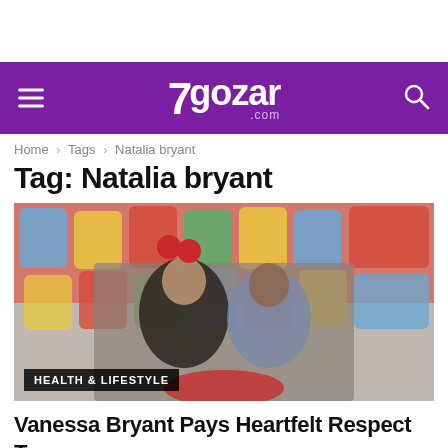7gozar.com
Home › Tags › Natalia bryant
Tag: Natalia bryant
[Figure (photo): Two women posing together in front of colorful decorative paper banners. One wears mouse ears with red bow, the other a denim jacket. Both are smiling.]
HEALTH & LIFESTYLE
Vanessa Bryant Pays Heartfelt Respect To